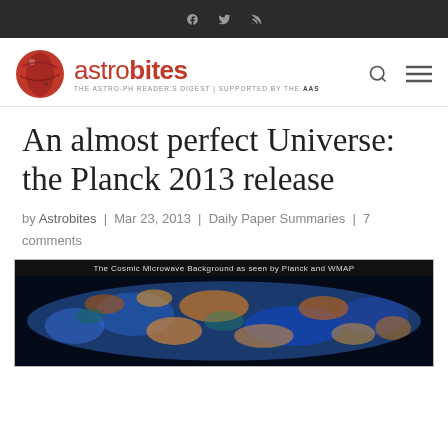astrobites — THE ASTRO-PH READER'S DIGEST | SUPPORTED BY THE AAS
An almost perfect Universe: the Planck 2013 release
by Astrobites | Mar 23, 2013 | Daily Paper Summaries | 7 comments
[Figure (photo): The Cosmic Microwave Background as seen by Planck and WMAP — an oval map of CMB temperature fluctuations in blue and orange/yellow tones against a black background.]